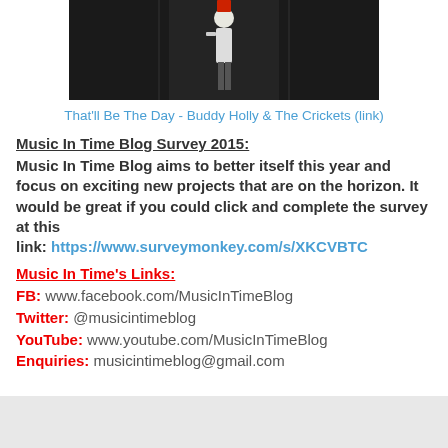[Figure (photo): Black and white photo of a person (Buddy Holly) against a dark background, partially visible at top of page]
That'll Be The Day - Buddy Holly & The Crickets (link)
Music In Time Blog Survey 2015:
Music In Time Blog aims to better itself this year and focus on exciting new projects that are on the horizon. It would be great if you could click and complete the survey at this link: https://www.surveymonkey.com/s/XKCVBTC
Music In Time's Links:
FB: www.facebook.com/MusicInTimeBlog
Twitter: @musicintimeblog
YouTube: www.youtube.com/MusicInTimeBlog
Enquiries: musicintimeblog@gmail.com